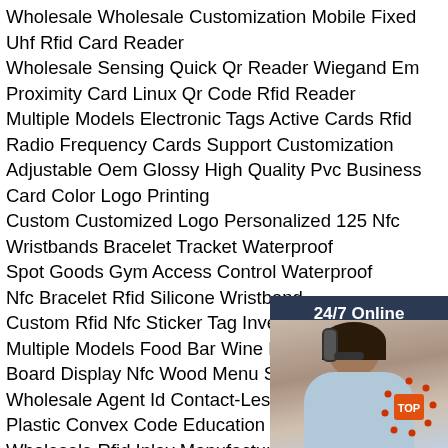Wholesale Wholesale Customization Mobile Fixed Uhf Rfid Card Reader
Wholesale Sensing Quick Qr Reader Wiegand Em Proximity Card Linux Qr Code Rfid Reader
Multiple Models Electronic Tags Active Cards Rfid tag Radio Frequency Cards Support Customization
Adjustable Oem Glossy High Quality Pvc Business Card Color Logo Printing
Custom Customized Logo Personalized 125 Nfc Wristbands Bracelet Tracket Waterproof Spot Goods Gym Access Control Waterproof Nfc Bracelet Rfid Silicone Wristband
Custom Rfid Nfc Sticker Tag Inventory Management
Multiple Models Food Bar Wine Book Cafe Board Display Nfc Wood Menu Stands
Wholesale Agent Id Contact-Less Smart Card R O Plastic Convex Code Education Value
Wholesale Rfid Inlay Manufacturer Newest Rfid Chip Inlay Smart Card
Professional Production Wholesale Best Price Custom Rfid Blocking Card Bank Card Protection Wallet Rfid
[Figure (photo): Customer service agent with headset, overlaid with 24/7 Online label, click here for free chat text, and QUOTATION button]
[Figure (logo): Chip TOP logo in orange/red color, bottom right corner]